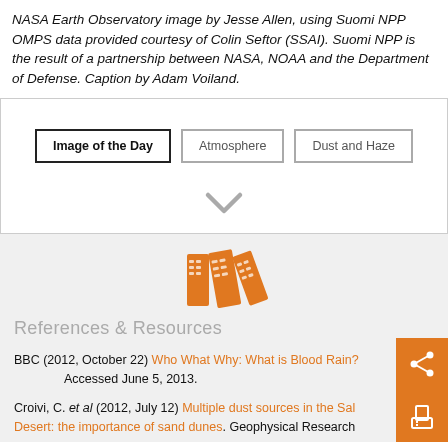NASA Earth Observatory image by Jesse Allen, using Suomi NPP OMPS data provided courtesy of Colin Seftor (SSAI). Suomi NPP is the result of a partnership between NASA, NOAA and the Department of Defense. Caption by Adam Voiland.
[Figure (other): Tag buttons panel with 'Image of the Day' (active/bold border), 'Atmosphere', and 'Dust and Haze' buttons, plus a downward chevron arrow below.]
[Figure (other): Orange books/binder icon above References & Resources section header.]
References & Resources
BBC (2012, October 22) Who What Why: What is Blood Rain?  Accessed June 5, 2013.
Croivi, C. et al (2012, July 12) Multiple dust sources in the Saharan Desert: the importance of sand dunes. Geophysical Research